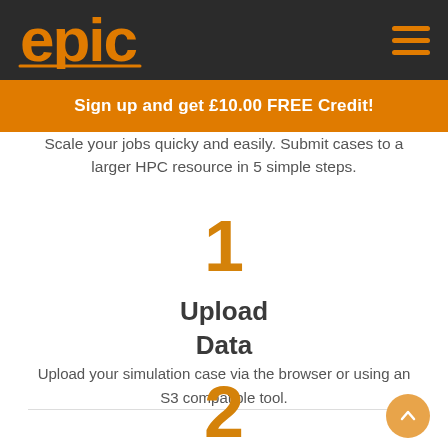epic
Sign up and get £10.00 FREE Credit!
Scale your jobs quicky and easily. Submit cases to a larger HPC resource in 5 simple steps.
1
Upload Data
Upload your simulation case via the browser or using an S3 compatible tool.
2